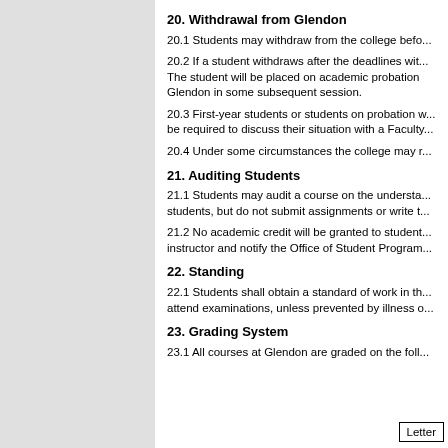20. Withdrawal from Glendon
20.1 Students may withdraw from the college befo...
20.2 If a student withdraws after the deadlines with... The student will be placed on academic probation... Glendon in some subsequent session.
20.3 First-year students or students on probation w... be required to discuss their situation with a Faculty...
20.4 Under some circumstances the college may r...
21. Auditing Students
21.1 Students may audit a course on the understa... students, but do not submit assignments or write t...
21.2 No academic credit will be granted to student... instructor and notify the Office of Student Program...
22. Standing
22.1 Students shall obtain a standard of work in th... attend examinations, unless prevented by illness o...
23. Grading System
23.1 All courses at Glendon are graded on the foll...
| Letter |
| --- |